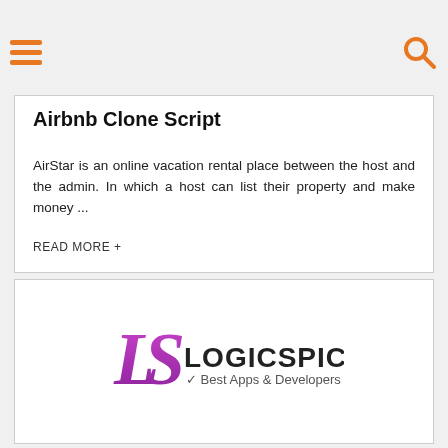Airbnb Clone Script
AirStar is an online vacation rental place between the host and the admin. In which a host can list their property and make money ...
READ MORE +
[Figure (logo): Logicspice logo — stylized LS lettering in purple/pink gradient with text LOGICSPICE and tagline Best Apps & Developers]